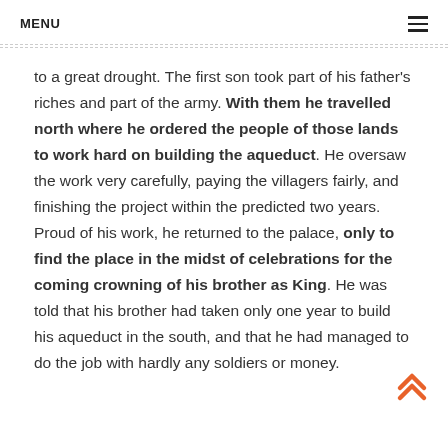MENU
to a great drought. The first son took part of his father’s riches and part of the army. With them he travelled north where he ordered the people of those lands to work hard on building the aqueduct. He oversaw the work very carefully, paying the villagers fairly, and finishing the project within the predicted two years. Proud of his work, he returned to the palace, only to find the place in the midst of celebrations for the coming crowning of his brother as King. He was told that his brother had taken only one year to build his aqueduct in the south, and that he had managed to do the job with hardly any soldiers or money.